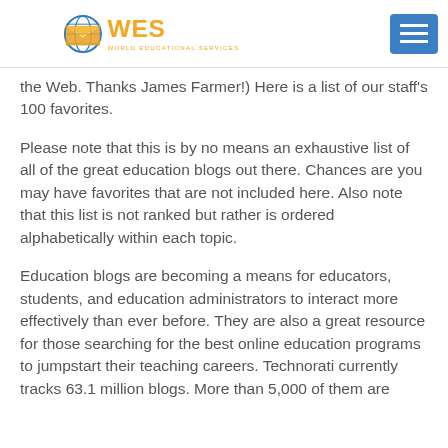WES World Educational Services
the Web. Thanks James Farmer!) Here is a list of our staff's 100 favorites.
Please note that this is by no means an exhaustive list of all of the great education blogs out there. Chances are you may have favorites that are not included here. Also note that this list is not ranked but rather is ordered alphabetically within each topic.
Education blogs are becoming a means for educators, students, and education administrators to interact more effectively than ever before. They are also a great resource for those searching for the best online education programs to jumpstart their teaching careers. Technorati currently tracks 63.1 million blogs. More than 5,000 of them are